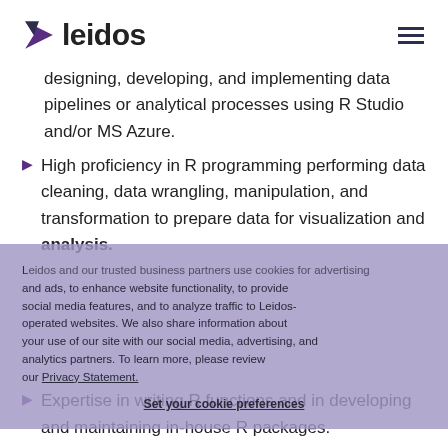leidos
designing, developing, and implementing data pipelines or analytical processes using R Studio and/or MS Azure.
High proficiency in R programming performing data cleaning, data wrangling, manipulation, and transformation to prepare data for visualization and analysis.
Expertise in writing R functions and in developing and maintaining in-house R packages.
Expertise in R packages, especially dplyr, tidyverse, Shiny, plotly, knitr, and ggplot2.